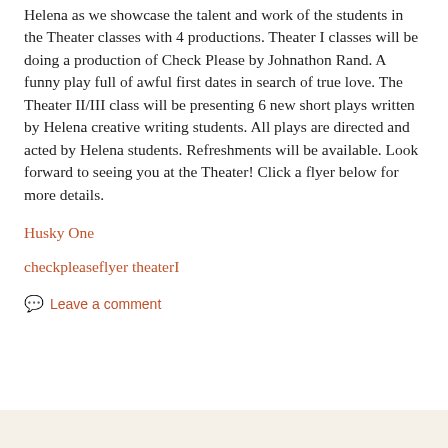Helena as we showcase the talent and work of the students in the Theater classes with 4 productions. Theater I classes will be doing a production of Check Please by Johnathon Rand. A funny play full of awful first dates in search of true love. The Theater II/III class will be presenting 6 new short plays written by Helena creative writing students. All plays are directed and acted by Helena students. Refreshments will be available. Look forward to seeing you at the Theater! Click a flyer below for more details.
Husky One
checkpleaseflyer theaterI
Leave a comment